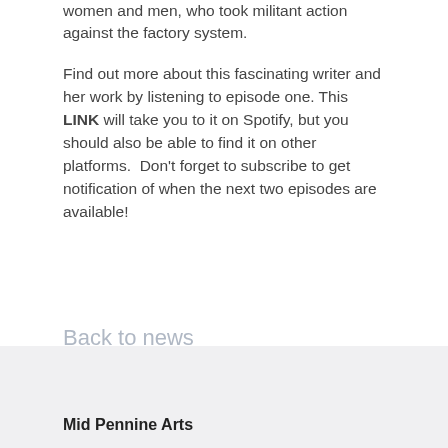women and men, who took militant action against the factory system.
Find out more about this fascinating writer and her work by listening to episode one. This LINK will take you to it on Spotify, but you should also be able to find it on other platforms.  Don't forget to subscribe to get notification of when the next two episodes are available!
Back to news
Mid Pennine Arts